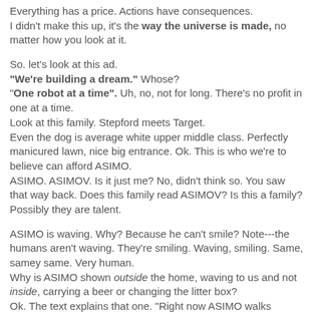Everything has a price. Actions have consequences. I didn't make this up, it's the way the universe is made, no matter how you look at it.
So. let's look at this ad.
"We're building a dream." Whose?
"One robot at a time". Uh, no, not for long. There's no profit in one at a time.
Look at this family. Stepford meets Target.
Even the dog is average white upper middle class. Perfectly manicured lawn, nice big entrance. Ok. This is who we're to believe can afford ASIMO.
ASIMO. ASIMOV. Is it just me? No, didn't think so. You saw that way back. Does this family read ASIMOV? Is this a family? Possibly they are talent.
ASIMO is waving. Why? Because he can't smile? Note---the humans aren't waving. They're smiling. Waving, smiling. Same, samey same. Very human.
Why is ASIMO shown outside the home, waving to us and not inside, carrying a beer or changing the litter box?
Ok. The text explains that one. "Right now ASIMO walks forward and backward, turns corners and goes up and down